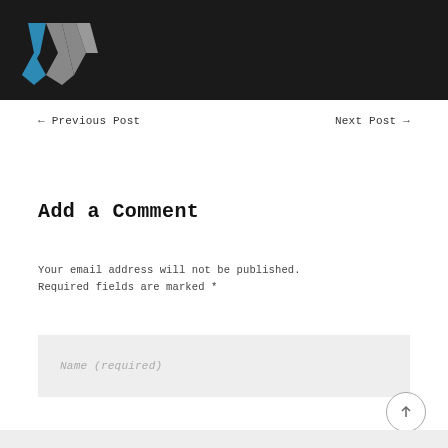[Figure (logo): W-shaped logo with blue left chevron and gray right chevron on dark background header bar]
← Previous Post
Next Post →
Add a Comment
Your email address will not be published. Required fields are marked *
Name (required)